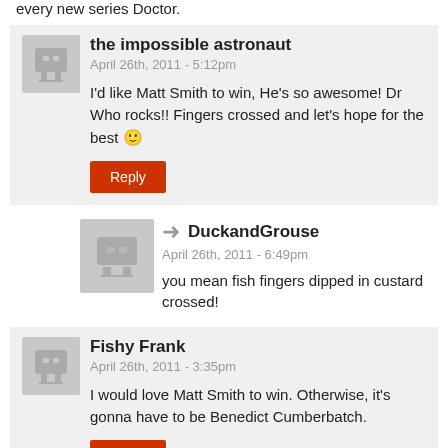every new series Doctor.
the impossible astronaut
April 26th, 2011 - 5:12pm
I'd like Matt Smith to win, He's so awesome! Dr Who rocks!! Fingers crossed and let's hope for the best 🙂
Reply
DuckandGrouse
April 26th, 2011 - 6:49pm
you mean fish fingers dipped in custard crossed!
Fishy Frank
April 26th, 2011 - 3:35pm
I would love Matt Smith to win. Otherwise, it's gonna have to be Benedict Cumberbatch.
Reply
someone